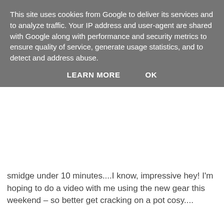This site uses cookies from Google to deliver its services and to analyze traffic. Your IP address and user-agent are shared with Google along with performance and security metrics to ensure quality of service, generate usage statistics, and to detect and address abuse.
LEARN MORE    OK
smidge under 10 minutes....I know, impressive hey! I'm hoping to do a video with me using the new gear this weekend – so better get cracking on a pot cosy....
Unknown at 23:25    4 comments:
Share
Saturday, 17 January 2009
From Lakes To Peaks
[Figure (photo): Partial thumbnail photograph, appears to show a landscape with sky, partially cut off at bottom of page]